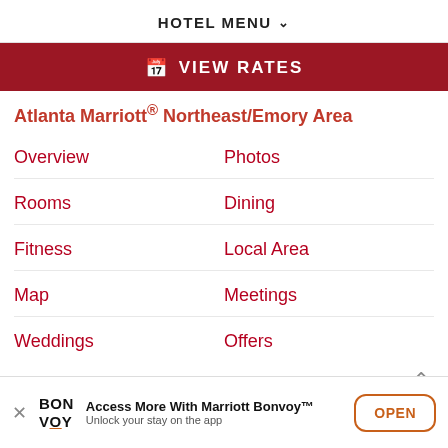HOTEL MENU
VIEW RATES
Atlanta Marriott® Northeast/Emory Area
Overview
Photos
Rooms
Dining
Fitness
Local Area
Map
Meetings
Weddings
Offers
Access More With Marriott Bonvoy™ Unlock your stay on the app